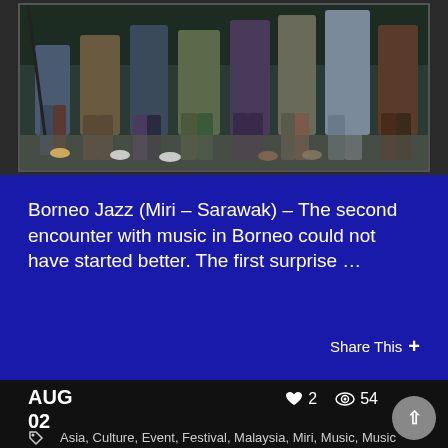[Figure (photo): Group photo showing multiple people standing, lower bodies visible, at what appears to be an indoor event or music festival]
Borneo Jazz (Miri – Sarawak) – The second encounter with music in Borneo could not have started better. The first surprise …
Share This +
AUG
02
♥ 2  👁 54
Asia, Culture, Event, Festival, Malaysia, Miri, Music, Music Festival, Sarawak